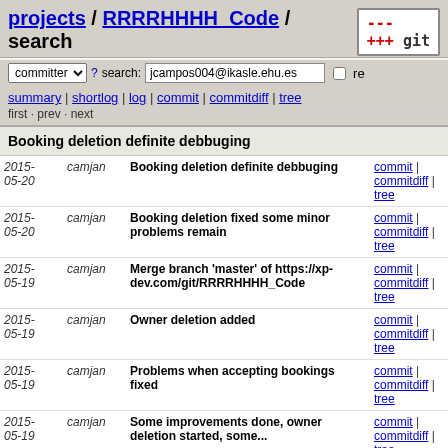projects / RRRRHHHH_Code / search
committer search: jcampos004@ikasle.ehu.es re
summary | shortlog | log | commit | commitdiff | tree
first · prev · next
Booking deletion definite debbuging
| Date | Author | Message | Links |
| --- | --- | --- | --- |
| 2015-05-20 | camjan | Booking deletion definite debbuging | commit | commitdiff | tree |
| 2015-05-20 | camjan | Booking deletion fixed some minor problems remain | commit | commitdiff | tree |
| 2015-05-19 | camjan | Merge branch 'master' of https://xp-dev.com/git/RRRRHHHH_Code | commit | commitdiff | tree |
| 2015-05-19 | camjan | Owner deletion added | commit | commitdiff | tree |
| 2015-05-19 | camjan | Problems when accepting bookings fixed | commit | commitdiff | tree |
| 2015-05-19 | camjan | Some improvements done, owner deletion started, some... | commit | commitdiff | tree |
| 2015-05-18 | camjan | Account adding and deleting fixed | commit | commitdiff | tree |
| 2015-05-17 | camjan | Booking confirmation and e-mail service added. Some... | commit | commitdiff | tree |
| 2015- | camjan | Possibility of registering new owners added... | commit | commitdiff |